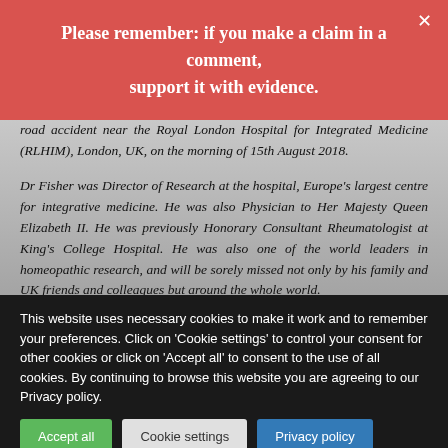Please remember: if you make a claim in a comment, support it with evidence.
road accident near the Royal London Hospital for Integrated Medicine (RLHIM), London, UK, on the morning of 15th August 2018.
Dr Fisher was Director of Research at the hospital, Europe's largest centre for integrative medicine. He was also Physician to Her Majesty Queen Elizabeth II. He was previously Honorary Consultant Rheumatologist at King's College Hospital. He was also one of the world leaders in homeopathic research, and will be sorely missed not only by his family and UK friends and colleagues but around the whole world.
A graduate of Cambridge University and a Fellow of the Royal College of Physicians, and the Faculty of Homeopathy, he was a
This website uses necessary cookies to make it work and to remember your preferences. Click on 'Cookie settings' to control your consent for other cookies or click on 'Accept all' to consent to the use of all cookies. By continuing to browse this website you are agreeing to our Privacy policy.